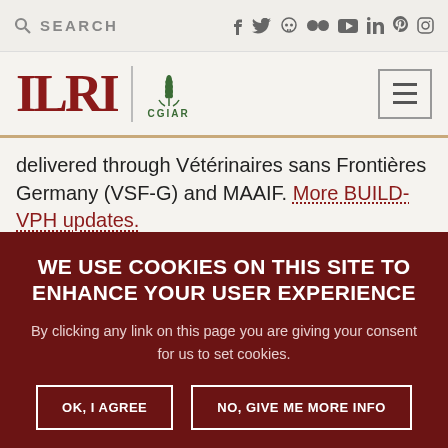SEARCH [social media icons: f, twitter, skull, flickr, youtube, linkedin, pinterest, instagram]
[Figure (logo): ILRI CGIAR logo with hamburger menu button on right]
delivered through Vétérinaires sans Frontières Germany (VSF-G) and MAAIF. More BUILD-VPH updates.
To ensure that research is translated into use and
WE USE COOKIES ON THIS SITE TO ENHANCE YOUR USER EXPERIENCE
By clicking any link on this page you are giving your consent for us to set cookies.
OK, I AGREE   NO, GIVE ME MORE INFO